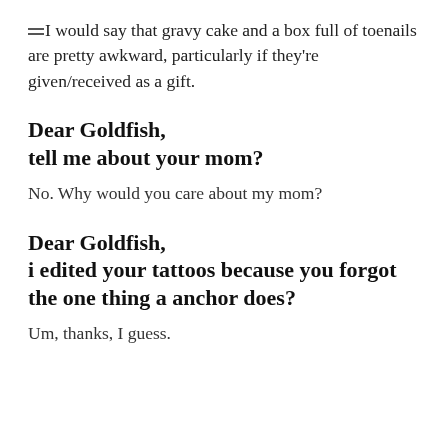I would say that gravy cake and a box full of toenails are pretty awkward, particularly if they're given/received as a gift.
Dear Goldfish,
tell me about your mom?
No. Why would you care about my mom?
Dear Goldfish,
i edited your tattoos because you forgot the one thing a anchor does?
Um, thanks, I guess.